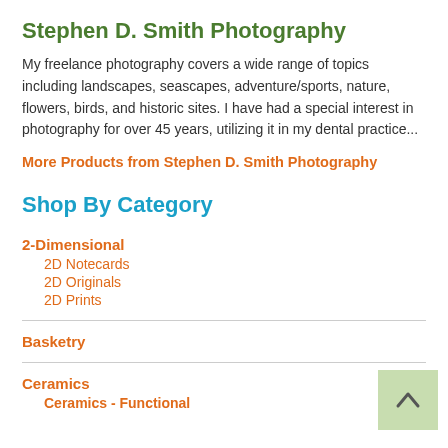Stephen D. Smith Photography
My freelance photography covers a wide range of topics including landscapes, seascapes, adventure/sports, nature, flowers, birds, and historic sites. I have had a special interest in photography for over 45 years, utilizing it in my dental practice...
More Products from Stephen D. Smith Photography
Shop By Category
2-Dimensional
2D Notecards
2D Originals
2D Prints
Basketry
Ceramics
Ceramics - Functional